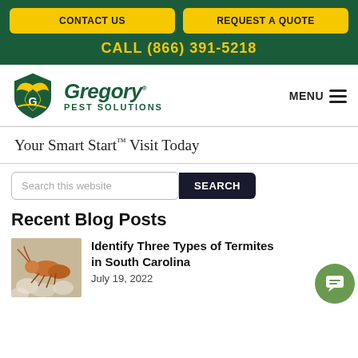CONTACT US | REQUEST A QUOTE | CALL (866) 391-5218
[Figure (logo): Gregory Pest Solutions logo with green/yellow shield emblem]
MENU
Your Smart Start™ Visit Today
Search this website
SEARCH
Recent Blog Posts
[Figure (photo): Close-up photo of a termite on white surface]
Identify Three Types of Termites in South Carolina
July 19, 2022